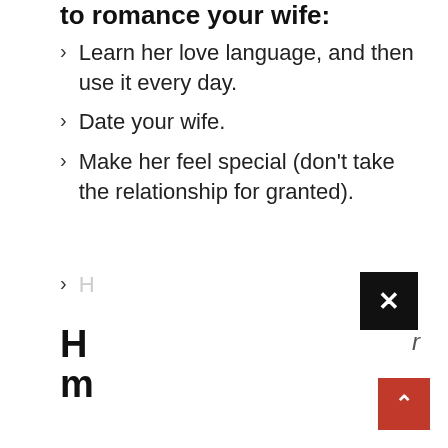to romance your wife:
Learn her love language, and then use it every day.
Date your wife.
Make her feel special (don't take the relationship for granted).
H... (partially visible)
[Figure (other): Black close/dismiss button with a white X symbol]
H
r
m
[Figure (other): Red scroll-to-top button with a white upward chevron arrow]